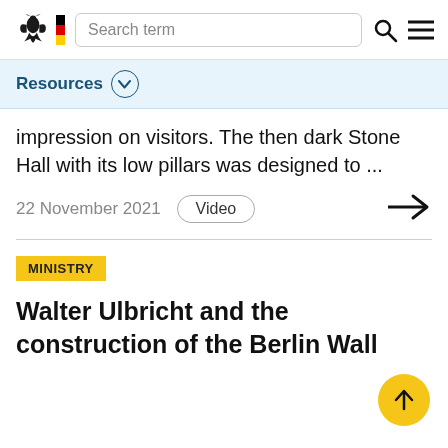Search term
Resources
impression on visitors. The then dark Stone Hall with its low pillars was designed to ...
22 November 2021  Video
MINISTRY
Walter Ulbricht and the construction of the Berlin Wall